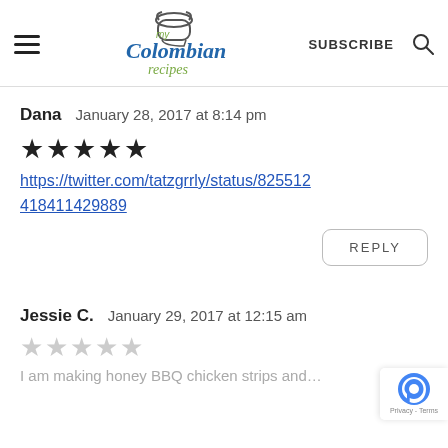my Colombian recipes — SUBSCRIBE
Dana   January 28, 2017 at 8:14 pm
★★★★★
https://twitter.com/tatzgrrly/status/825512418411429889
REPLY
Jessie C.   January 29, 2017 at 12:15 am
☆☆☆☆☆
I am making honey BBQ chicken strips and